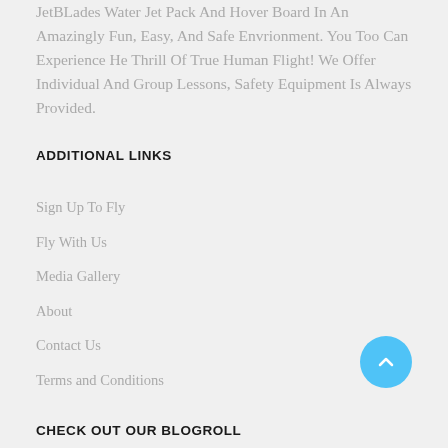JetBLades Water Jet Pack And Hover Board In An Amazingly Fun, Easy, And Safe Envrionment. You Too Can Experience He Thrill Of True Human Flight! We Offer Individual And Group Lessons, Safety Equipment Is Always Provided.
ADDITIONAL LINKS
Sign Up To Fly
Fly With Us
Media Gallery
About
Contact Us
Terms and Conditions
[Figure (other): Blue circular scroll-to-top button with upward chevron arrow]
CHECK OUT OUR BLOGROLL